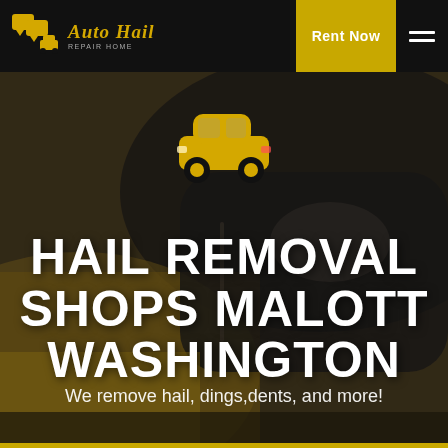Auto Hail Repair Home
Rent Now
[Figure (illustration): Yellow car icon silhouette centered above hero text]
HAIL REMOVAL SHOPS MALOTT WASHINGTON
We remove hail, dings,dents, and more!